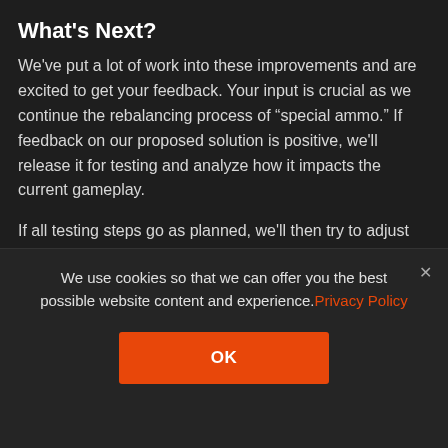What's Next?
We've put a lot of work into these improvements and are excited to get your feedback. Your input is crucial as we continue the rebalancing process of “special ammo.” If feedback on our proposed solution is positive, we'll release it for testing and analyze how it impacts the current gameplay.
If all testing steps go as planned, we'll then try to adjust the cost of all shells, depending on their effectiveness and how often they are chosen.
We use cookies so that we can offer you the best possible website content and experience. Privacy Policy
[Figure (other): OK button — orange rectangular button with white bold text 'OK']